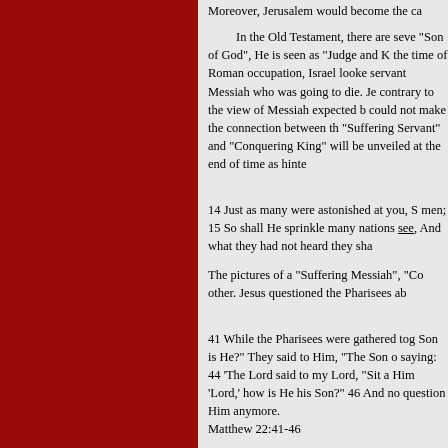Moreover, Jerusalem would become the ca...
In the Old Testament, there are seve... "Son of God", He is seen as "Judge and K... the time of Roman occupation, Israel looke... servant Messiah who was going to die. Je... contrary to the view of Messiah expected b... could not make the connection between th... "Suffering Servant" and "Conquering King"... will be unveiled at the end of time as hinte...
14 Just as many were astonished at you, S... men; 15 So shall He sprinkle many nations... see, And what they had not heard they sha...
The pictures of a "Suffering Messiah", "Co... other. Jesus questioned the Pharisees ab...
41 While the Pharisees were gathered tog... Son is He?" They said to Him, "The Son o... saying: 44 'The Lord said to my Lord, "Sit a... Him 'Lord,' how is He his Son?" 46 And no... question Him anymore.
Matthew 22:41-46